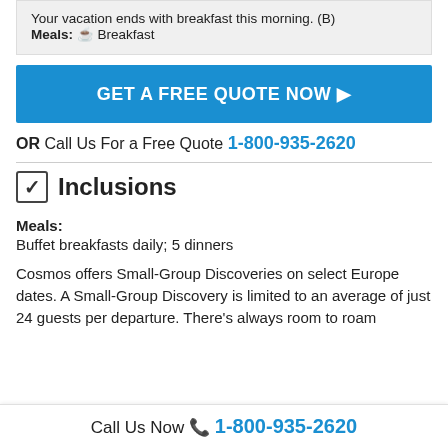Your vacation ends with breakfast this morning. (B)
Meals: ☕ Breakfast
GET A FREE QUOTE NOW ▶
OR Call Us For a Free Quote 1-800-935-2620
☑ Inclusions
Meals:
Buffet breakfasts daily; 5 dinners
Cosmos offers Small-Group Discoveries on select Europe dates. A Small-Group Discovery is limited to an average of just 24 guests per departure. There's always room to roam
Call Us Now 📞 1-800-935-2620